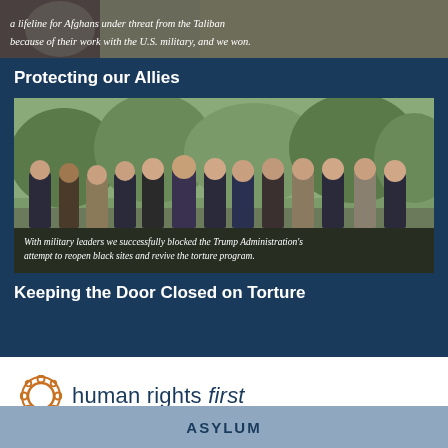[Figure (photo): Partial view of a military-related photo with italic caption text about a lifeline for Afghans under threat from the Taliban because of their work with the U.S. military, and we won.]
Protecting our Allies
[Figure (photo): Group photo of approximately 12 men in suits standing outdoors. Caption reads: With military leaders we successfully blocked the Trump Administration's attempt to reopen black sites and revive the torture program.]
Keeping the Door Closed on Torture
[Figure (logo): Human Rights First logo: orange circular icon with interconnected rings, followed by text 'human rights first' in dark blue with 'first' italicized.]
ASYLUM